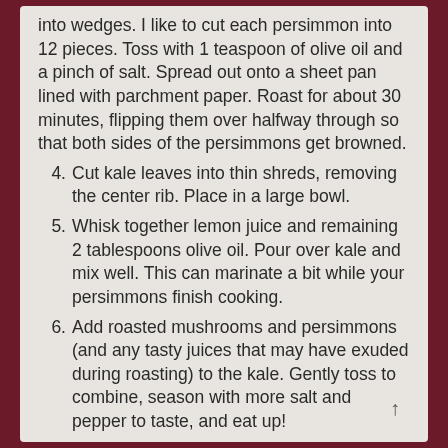(continuation) into wedges. I like to cut each persimmon into 12 pieces. Toss with 1 teaspoon of olive oil and a pinch of salt. Spread out onto a sheet pan lined with parchment paper. Roast for about 30 minutes, flipping them over halfway through so that both sides of the persimmons get browned.
4. Cut kale leaves into thin shreds, removing the center rib. Place in a large bowl.
5. Whisk together lemon juice and remaining 2 tablespoons olive oil. Pour over kale and mix well. This can marinate a bit while your persimmons finish cooking.
6. Add roasted mushrooms and persimmons (and any tasty juices that may have exuded during roasting) to the kale. Gently toss to combine, season with more salt and pepper to taste, and eat up!